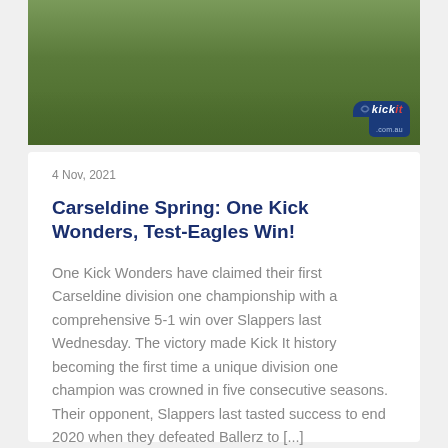[Figure (photo): Group photo of sports team on grass field holding a shield trophy, with kickit.com.au logo in bottom right corner]
4 Nov, 2021
Carseldine Spring: One Kick Wonders, Test-Eagles Win!
One Kick Wonders have claimed their first Carseldine division one championship with a comprehensive 5-1 win over Slappers last Wednesday. The victory made Kick It history becoming the first time a unique division one champion was crowned in five consecutive seasons. Their opponent, Slappers last tasted success to end 2020 when they defeated Ballerz to [...]